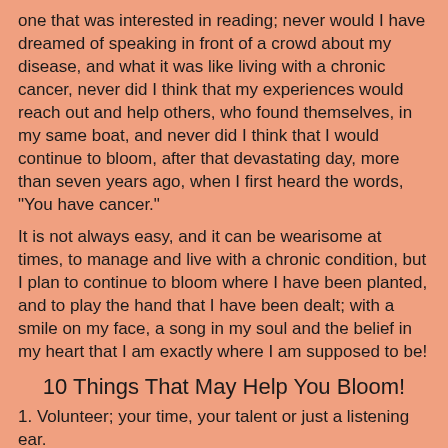one that was interested in reading; never would I have dreamed of speaking in front of a crowd about my disease, and what it was like living with a chronic cancer, never did I think that my experiences would reach out and help others, who found themselves, in my same boat, and never did I think that I would continue to bloom, after that devastating day, more than seven years ago, when I first heard the words, "You have cancer."
It is not always easy, and it can be wearisome at times, to manage and live with a chronic condition, but I plan to continue to bloom where I have been planted, and to play the hand that I have been dealt; with a smile on my face, a song in my soul and the belief in my heart that I am exactly where I am supposed to be!
10 Things That May Help You Bloom!
1. Volunteer; your time, your talent or just a listening ear.